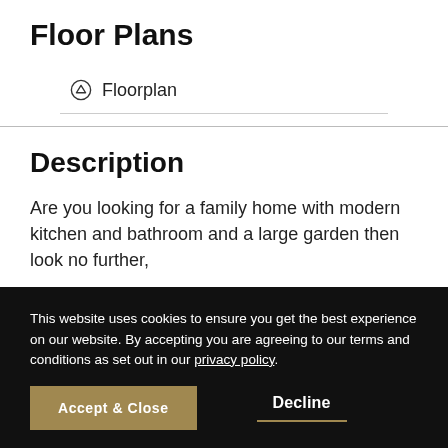Floor Plans
Floorplan
Description
Are you looking for a family home with modern kitchen and bathroom and a large garden then look no further,
This website uses cookies to ensure you get the best experience on our website. By accepting you are agreeing to our terms and conditions as set out in our privacy policy.
Accept & Close
Decline